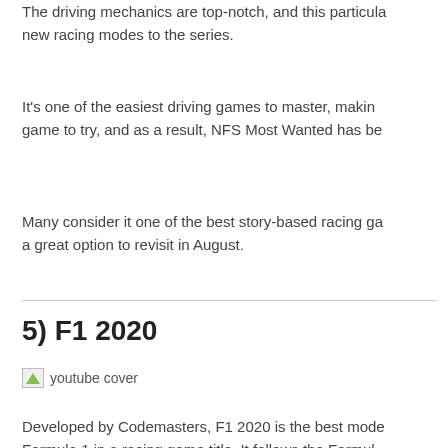The driving mechanics are top-notch, and this particular installment adds new racing modes to the series.
It's one of the easiest driving games to master, making it a great game to try, and as a result, NFS Most Wanted has be...
Many consider it one of the best story-based racing ga... a great option to revisit in August.
5) F1 2020
[Figure (illustration): youtube cover image placeholder]
Developed by Codemasters, F1 2020 is the best mode... Formula 1 in a racing game title. It follows the Formula... championships for that year.
F1 2020 allows users to create their own Formula 1 tea... teammates and race alongside official teams and drive...